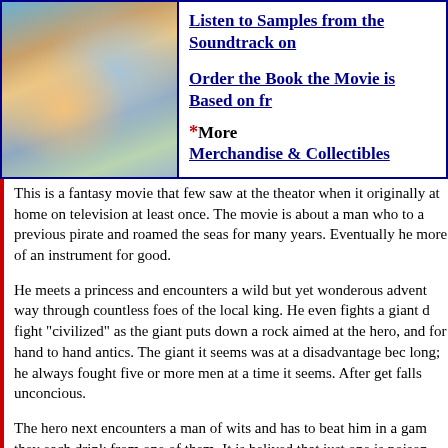[Figure (photo): Movie poster or promotional image showing a man and woman in fantasy/adventure setting]
Listen to Samples from the Soundtrack on
Order the Book the Movie is Based on fr
*More Merchandise & Collectibles
This is a fantasy movie that few saw at the theator when it originally at home on television at least once. The movie is about a man who to a previous pirate and roamed the seas for many years. Eventually he more of an instrument for good.
He meets a princess and encounters a wild but yet wonderous advent way through countless foes of the local king. He even fights a giant d fight "civilized" as the giant puts down a rock aimed at the hero, and for hand to hand antics. The giant it seems was at a disadvantage bec long; he always fought five or more men at a time it seems. After get falls unconcious.
The hero next encounters a man of wits and has to beat him in a gam they each drink from one of them. It is belived that just one is poison both were poisoned and the hero had built up a resistance to the pois
The princess is scheduled to be married to a vicious king. In the end man who seeks one of the king's henchmen who has 6 fingers join hi the hero that seeks her who was the dreaded Pirate Roberts briefly w